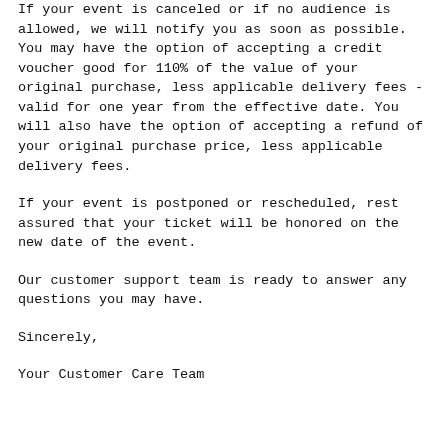If your event is canceled or if no audience is allowed, we will notify you as soon as possible. You may have the option of accepting a credit voucher good for 110% of the value of your original purchase, less applicable delivery fees - valid for one year from the effective date. You will also have the option of accepting a refund of your original purchase price, less applicable delivery fees.
If your event is postponed or rescheduled, rest assured that your ticket will be honored on the new date of the event.
Our customer support team is ready to answer any questions you may have.
Sincerely,
Your Customer Care Team